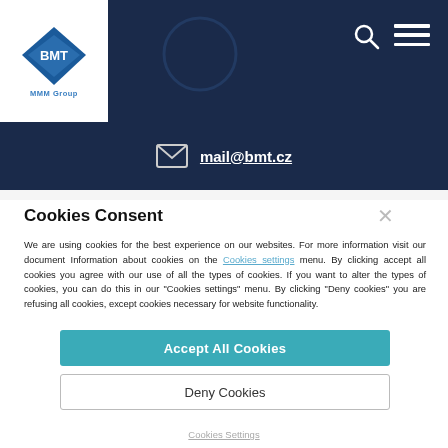[Figure (logo): BMT MMM Group diamond logo in white box on dark navy header]
[Figure (screenshot): Search icon (magnifying glass) top right of header]
[Figure (screenshot): Hamburger menu icon top right of header]
mail@bmt.cz
Cookies Consent
We are using cookies for the best experience on our websites. For more information visit our document Information about cookies on the Cookies settings menu. By clicking accept all cookies you agree with our use of all the types of cookies. If you want to alter the types of cookies, you can do this in our "Cookies settings" menu. By clicking "Deny cookies" you are refusing all cookies, except cookies necessary for website functionality.
Accept All Cookies
Deny Cookies
Cookies Settings